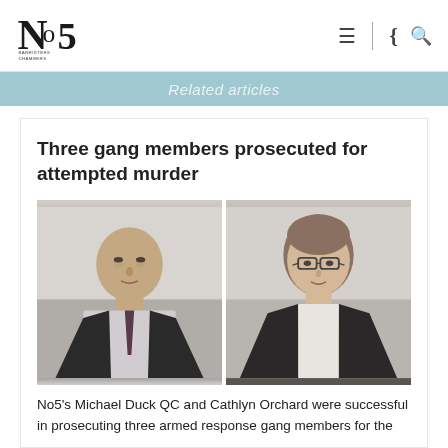No5 Barristers Chambers
Related articles
Three gang members prosecuted for attempted murder
[Figure (photo): Two professional portrait photos side by side: left shows a bald middle-aged man in a dark suit and patterned tie; right shows a woman with glasses and hair pulled back, wearing a dark jacket.]
No5's Michael Duck QC and Cathlyn Orchard were successful in prosecuting three armed response gang members for the